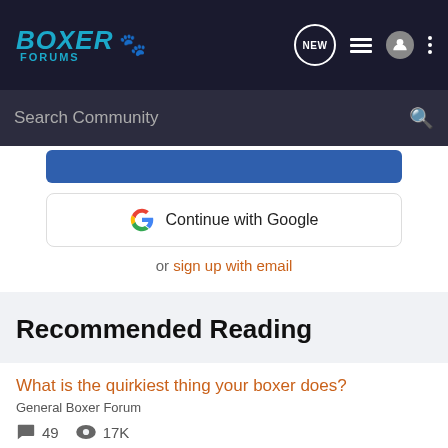BOXER FORUMS
Search Community
Continue with Google
or sign up with email
Recommended Reading
What is the quirkiest thing your boxer does?
General Boxer Forum
49  17K
tysonsdad · updated 1 d ago